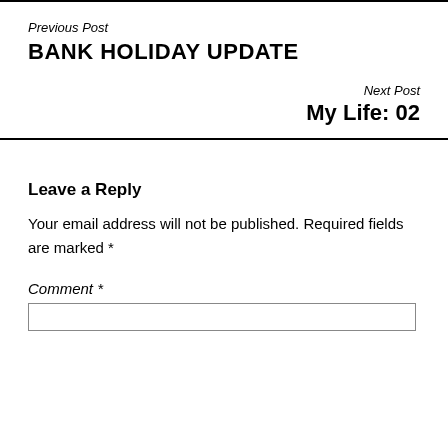Previous Post
BANK HOLIDAY UPDATE
Next Post
My Life: 02
Leave a Reply
Your email address will not be published. Required fields are marked *
Comment *